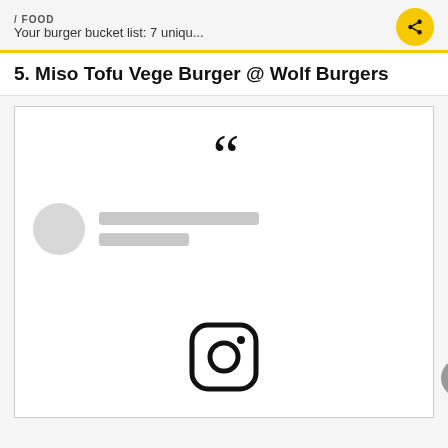/ FOOD
Your burger bucket list: 7 uniqu...
5. Miso Tofu Vege Burger @ Wolf Burgers
[Figure (screenshot): An embedded social media quote card with large opening quotation marks, a blurred/loading profile avatar and two grey placeholder lines, and an Instagram logo icon at the bottom center.]